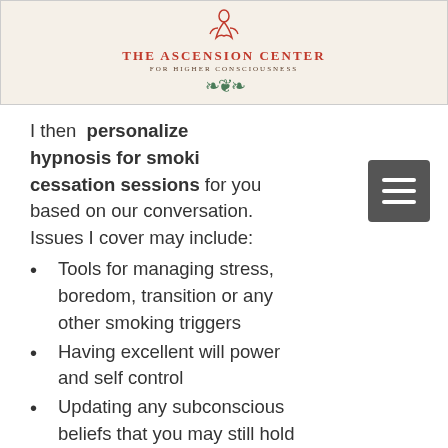[Figure (logo): The Ascension Center logo with lotus/meditation figure icon, red text reading 'THE ASCENSION CENTER', subtitle 'FOR HIGHER CONSCIOUSNESS', and decorative leaf/lotus motif below]
I then personalize hypnosis for smoking cessation sessions for you based on our conversation. Issues I cover may include:
Tools for managing stress, boredom, transition or any other smoking triggers
Having excellent will power and self control
Updating any subconscious beliefs that you may still hold within about smoking
Not experiencing any withdrawal symptoms
Not substituting for any other